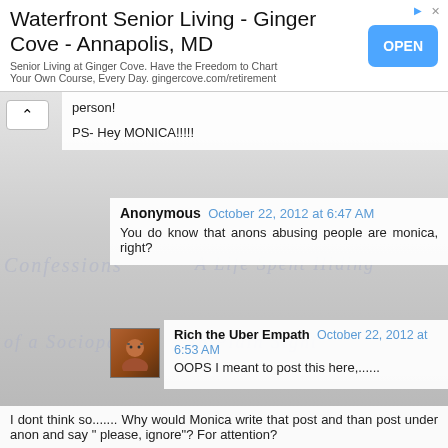[Figure (screenshot): Advertisement banner for Waterfront Senior Living - Ginger Cove - Annapolis MD with OPEN button]
person!

PS- Hey MONICA!!!!!
Anonymous October 22, 2012 at 6:47 AM
You do know that anons abusing people are monica, right?
Rich the Uber Empath October 22, 2012 at 6:53 AM
OOPS I meant to post this here,...... 
I dont think so....... Why would Monica write that post and than post under anon and say " please, ignore"? For attention?